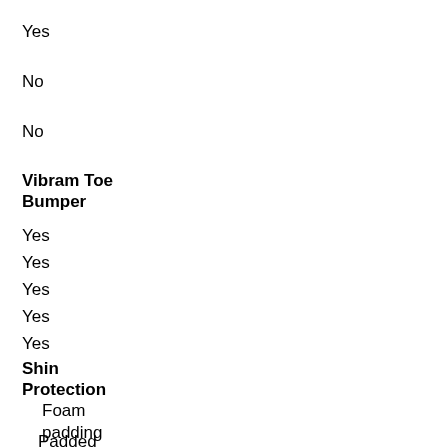Yes
No
No
Vibram Toe Bumper
Yes
Yes
Yes
Yes
Yes
Shin Protection
Foam padding
Padded